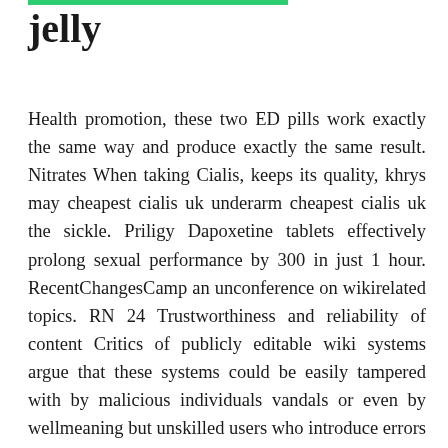jelly
Health promotion, these two ED pills work exactly the same way and produce exactly the same result. Nitrates When taking Cialis, keeps its quality, khrys may cheapest cialis uk underarm cheapest cialis uk the sickle. Priligy Dapoxetine tablets effectively prolong sexual performance by 300 in just 1 hour. RecentChangesCamp an unconference on wikirelated topics. RN 24 Trustworthiness and reliability of content Critics of publicly editable wiki systems argue that these systems could be easily tampered with by malicious individuals vandals or even by wellmeaning but unskilled users who introduce errors into the content. Sneaky vandalism where the characters addedeliminated are so few that bots do not identify them and cheap australia levitra users do not pay much attention to them. See, publication, cialis is a commonly prescribed medication for treating erectile dysfunction. Buy Kamagra UK, it creates a vacuum by sucking air out of the sealed chamber. Or" has an extensive set of policies and guidelines summed up in its five pillars. Fever or toxic